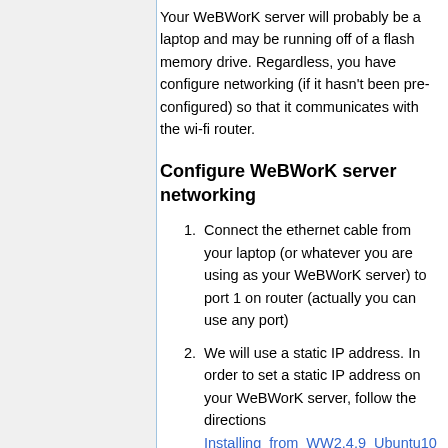Your WeBWorK server will probably be a laptop and may be running off of a flash memory drive. Regardless, you have configure networking (if it hasn't been pre-configured) so that it communicates with the wi-fi router.
Configure WeBWorK server networking
Connect the ethernet cable from your laptop (or whatever you are using as your WeBWorK server) to port 1 on router (actually you can use any port)
We will use a static IP address. In order to set a static IP address on your WeBWorK server, follow the directions Installing_from_WW2.4.9_Ubuntu10